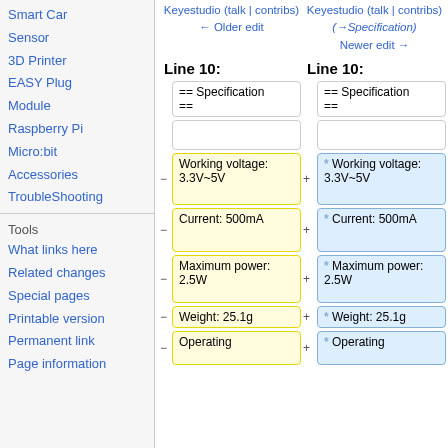Smart Car
Sensor
3D Printer
EASY Plug
Module
Raspberry Pi
Micro:bit
Accessories
TroubleShooting
Tools
What links here
Related changes
Special pages
Printable version
Permanent link
Page information
Keyestudio (talk | contribs) ← Older edit
Keyestudio (talk | contribs) (→Specification) Newer edit →
Line 10:
Line 10:
== Specification ==
== Specification ==
Working voltage: 3.3V~5V
* Working voltage: 3.3V~5V
Current: 500mA
* Current: 500mA
Maximum power: 2.5W
* Maximum power: 2.5W
Weight: 25.1g
* Weight: 25.1g
Operating
* Operating